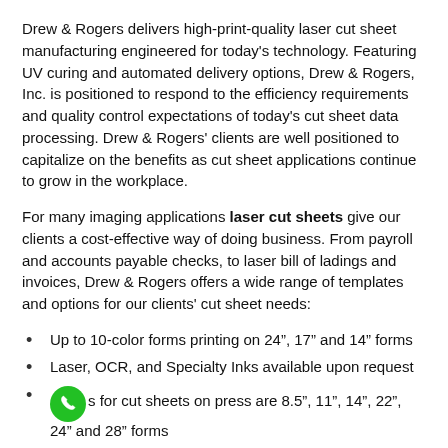Drew & Rogers delivers high-print-quality laser cut sheet manufacturing engineered for today's technology. Featuring UV curing and automated delivery options, Drew & Rogers, Inc. is positioned to respond to the efficiency requirements and quality control expectations of today's cut sheet data processing. Drew & Rogers' clients are well positioned to capitalize on the benefits as cut sheet applications continue to grow in the workplace.
For many imaging applications laser cut sheets give our clients a cost-effective way of doing business. From payroll and accounts payable checks, to laser bill of ladings and invoices, Drew & Rogers offers a wide range of templates and options for our clients' cut sheet needs:
Up to 10-color forms printing on 24”, 17” and 14” forms
Laser, OCR, and Specialty Inks available upon request
[phone icon]s for cut sheets on press are 8.5”, 11”, 14”, 22”, 24” and 28” forms